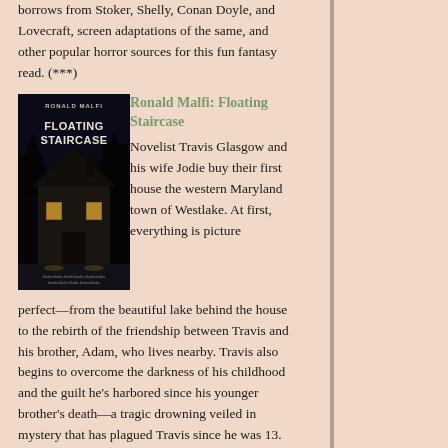borrows from Stoker, Shelly, Conan Doyle, and Lovecraft, screen adaptations of the same, and other popular horror sources for this fun fantasy read. (***)
[Figure (photo): Book cover of 'Floating Staircase' by Ronald Malfi, showing a dark haunted house at night with dramatic lighting]
Ronald Malfi: Floating Staircase
Novelist Travis Glasgow and his wife Jodie buy their first house the western Maryland town of Westlake. At first, everything is picture perfect—from the beautiful lake behind the house to the rebirth of the friendship between Travis and his brother, Adam, who lives nearby. Travis also begins to overcome the darkness of his childhood and the guilt he's harbored since his younger brother's death—a tragic drowning veiled in mystery that has plagued Travis since he was 13. Soon, though, the new house begins to lose its allure. Strange noises wake Travis at